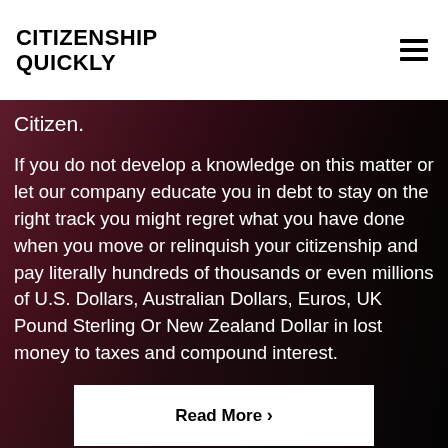CITIZENSHIP QUICKLY
Citizen.
If you do not develop a knowledge on this matter or let our company educate you in debt to stay on the right track you might regret what you have done when you move or relinquish your citizenship and pay literally hundreds of thousands or even millions of U.S. Dollars, Australian Dollars, Euros, UK Pound Sterling Or New Zealand Dollar in lost money to taxes and compound interest.
Read More >